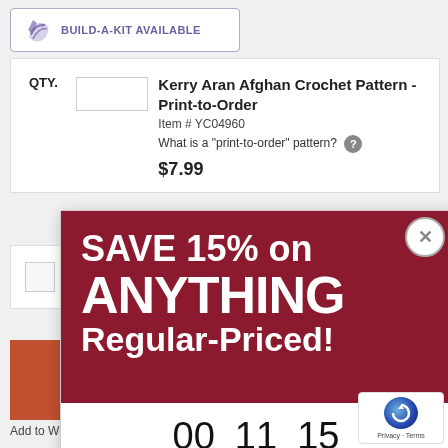[Figure (logo): Build-A-Kit Available banner with yarn/leaf icon in purple]
QTY.
Kerry Aran Afghan Crochet Pattern - Print-to-Order
Item # YC04960
What is a "print-to-order" pattern? ?
$7.99
[Figure (infographic): Promotional popup: SAVE 15% on ANYTHING Regular-Priced! with countdown timer 00 Day 11 Hr 15 Min and SHOP NOW button]
Add to Wish L